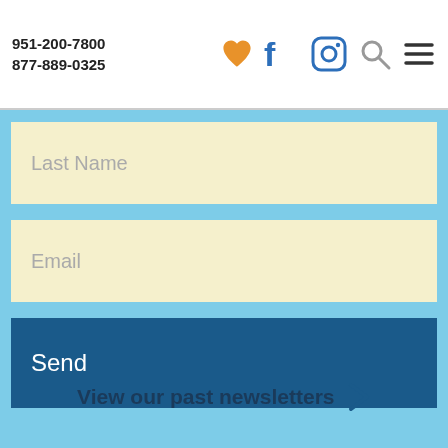951-200-7800
877-889-0325
Last Name
Email
Send
View our past newsletters